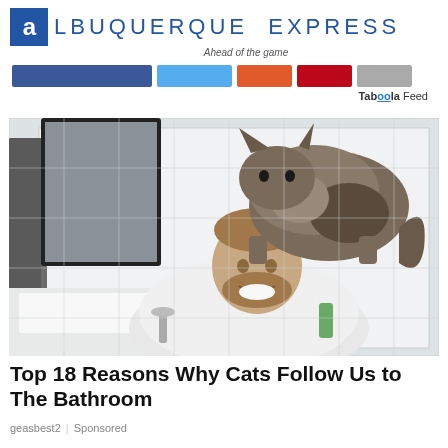Albuquerque Express — Ahead of the game
[Figure (logo): Albuquerque Express newspaper logo with blue square containing letter A, followed by uppercase text ALBUQUERQUE EXPRESS, tagline Ahead of the game, and social media navigation buttons (Facebook, Twitter, Google+, Pinterest, Email), plus Taboola Feed label]
[Figure (photo): A smiling bearded man in a white shirt leaning over a bathroom sink, with a tabby/tortoiseshell cat sitting on his head/shoulders. White subway tile walls, mirror, gray towel visible in background.]
Top 18 Reasons Why Cats Follow Us to The Bathroom
geasbest2 | Sponsored